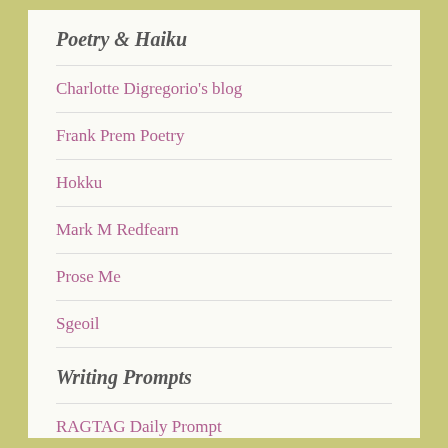Poetry & Haiku
Charlotte Digregorio's blog
Frank Prem Poetry
Hokku
Mark M Redfearn
Prose Me
Sgeoil
Writing Prompts
RAGTAG Daily Prompt